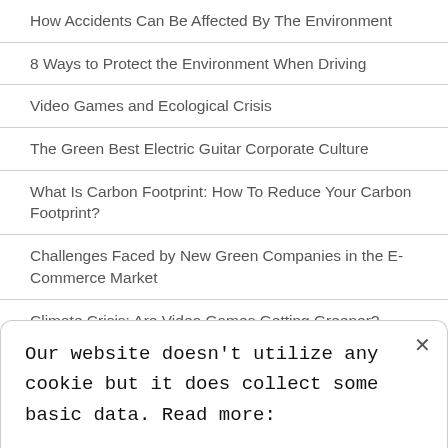How Accidents Can Be Affected By The Environment
8 Ways to Protect the Environment When Driving
Video Games and Ecological Crisis
The Green Best Electric Guitar Corporate Culture
What Is Carbon Footprint: How To Reduce Your Carbon Footprint?
Challenges Faced by New Green Companies in the E-Commerce Market
Climate Crisis: Are Video Games Getting Greener?
Brazil's INPE Revealed Real State of Amazon
Our website doesn't utilize any cookie but it does collect some basic data. Read more: